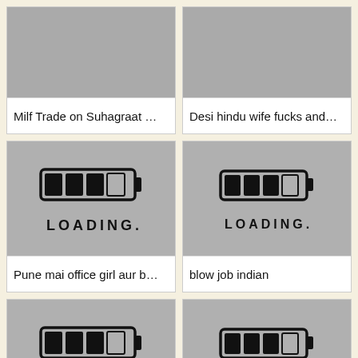[Figure (screenshot): Thumbnail partially visible at top, cropped]
Milf Trade on Suhagraat …
[Figure (screenshot): Thumbnail partially visible at top, cropped]
Desi hindu wife fucks and…
[Figure (illustration): Loading screen with battery-style bar and LOADING... text]
Pune mai office girl aur b…
[Figure (illustration): Loading screen with battery-style bar and LOADING... text]
blow job indian
[Figure (illustration): Loading screen with battery-style bar and LOADING... text]
Dehati desi porn video of …
[Figure (illustration): Loading screen with battery-style bar and LOADING... text]
Desi cute lover fun
[Figure (screenshot): Thumbnail partially visible at bottom, cropped]
[Figure (screenshot): Thumbnail partially visible at bottom, cropped]